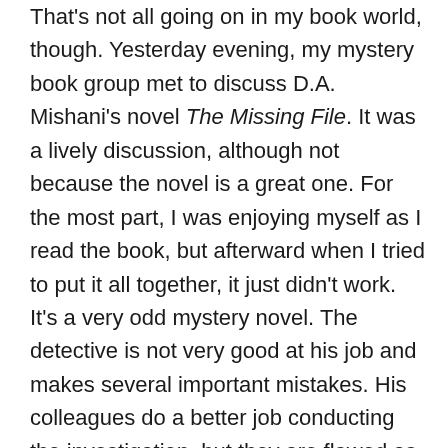That's not all going on in my book world, though. Yesterday evening, my mystery book group met to discuss D.A. Mishani's novel The Missing File. It was a lively discussion, although not because the novel is a great one. For the most part, I was enjoying myself as I read the book, but afterward when I tried to put it all together, it just didn't work. It's a very odd mystery novel. The detective is not very good at his job and makes several important mistakes. His colleagues do a better job conducting the investigation, but they are flawed as well. Mishani spends a lot of time with a marginally-related character who involves himself in the mystery for reasons that I never fully understood. He's a writer, and through what I guess is writerly imagination and empathy ends up doing a better job understanding the people involved in the mystery than the detective does. But this guy is kind of creepy and